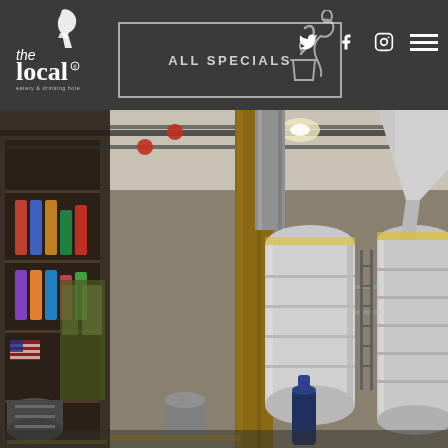[Figure (logo): The Local eatery and drinking hole logo with bird/fork illustration in white on dark background]
ALL SPECIALS
[Figure (illustration): Illustrated bird/figure pouring a drink, white line art on dark background]
[Figure (photo): Interior of a brewery showing stainless steel fermentation tanks, pipes overhead, wooden beam pillar, kegs on floor, and shelving with products on the left side]